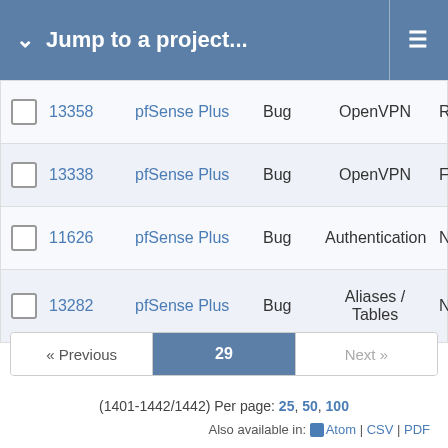Jump to a project...
|  | # | Project | Tracker | Category | Status |
| --- | --- | --- | --- | --- | --- |
|  | 13358 | pfSense Plus | Bug | OpenVPN | Ready |
|  | 13338 | pfSense Plus | Bug | OpenVPN | Feed |
|  | 11626 | pfSense Plus | Bug | Authentication | Ne |
|  | 13282 | pfSense Plus | Bug | Aliases / Tables | Ne |
« Previous  29  Next »
(1401-1442/1442) Per page: 25, 50, 100
Also available in: Atom | CSV | PDF